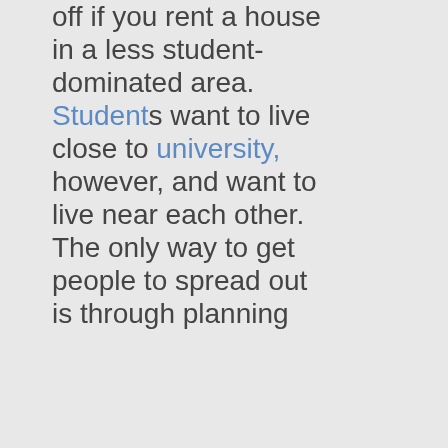off if you rent a house in a less student-dominated area. Students want to live close to university, however, and want to live near each other. The only way to get people to spread out is through planning